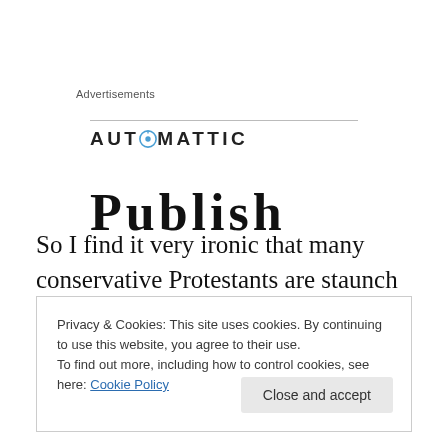Advertisements
[Figure (logo): Automattic logo with stylized compass O icon]
[Figure (other): Partially visible decorative or heading text, clipped at top]
So I find it very ironic that many conservative Protestants are staunch defenders of marriage and yet condone the use of contraception, the very thing that paved the way for
Privacy & Cookies: This site uses cookies. By continuing to use this website, you agree to their use.
To find out more, including how to control cookies, see here: Cookie Policy
Close and accept